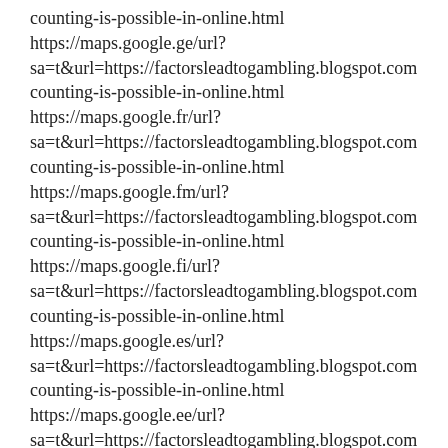counting-is-possible-in-online.html https://maps.google.ge/url? sa=t&url=https://factorsleadtogambling.blogspot.com counting-is-possible-in-online.html https://maps.google.fr/url? sa=t&url=https://factorsleadtogambling.blogspot.com counting-is-possible-in-online.html https://maps.google.fm/url? sa=t&url=https://factorsleadtogambling.blogspot.com counting-is-possible-in-online.html https://maps.google.fi/url? sa=t&url=https://factorsleadtogambling.blogspot.com counting-is-possible-in-online.html https://maps.google.es/url? sa=t&url=https://factorsleadtogambling.blogspot.com counting-is-possible-in-online.html https://maps.google.ee/url? sa=t&url=https://factorsleadtogambling.blogspot.com counting-is-possible-in-online.html https://maps.google.dz/url? sa=t&url=https://factorsleadtogambling.blogspot.com